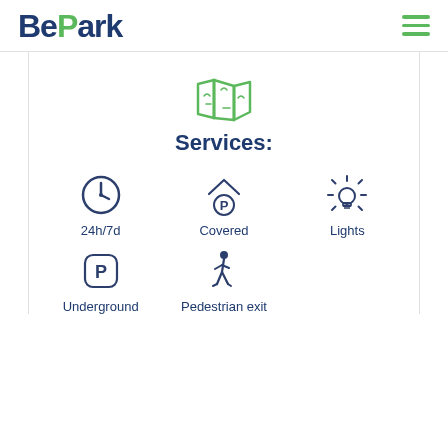[Figure (logo): BePark logo with 'Be' in dark navy and 'Park' in dark navy, with a green 'P' checkmark accent, and a green hamburger menu icon on the right]
[Figure (illustration): Green outline map/fold icon]
Services:
[Figure (illustration): Clock icon for 24h/7d service]
24h/7d
[Figure (illustration): Covered parking icon (roof with P)]
Covered
[Figure (illustration): Light bulb icon for Lights]
Lights
[Figure (illustration): Underground parking icon (hexagon with P)]
Underground
[Figure (illustration): Walking person icon for Pedestrian exit]
Pedestrian exit
[Figure (illustration): Green location pin icon at bottom]